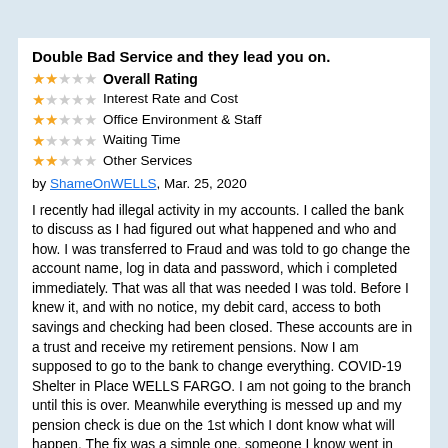Double Bad Service and they lead you on.
★★☆☆☆ Overall Rating
★☆☆☆☆ Interest Rate and Cost
★★☆☆☆ Office Environment & Staff
★☆☆☆☆ Waiting Time
★★☆☆☆ Other Services
by ShameOnWELLS, Mar. 25, 2020
I recently had illegal activity in my accounts. I called the bank to discuss as I had figured out what happened and who and how. I was transferred to Fraud and was told to go change the account name, log in data and password, which i completed immediately. That was all that was needed I was told. Before I knew it, and with no notice, my debit card, access to both savings and checking had been closed. These accounts are in a trust and receive my retirement pensions. Now I am supposed to go to the bank to change everything. COVID-19 Shelter in Place WELLS FARGO. I am not going to the branch until this is over. Meanwhile everything is messed up and my pension check is due on the 1st which I dont know what will happen. The fix was a simple one, someone I know went in and took money. I had given it to him before, but this